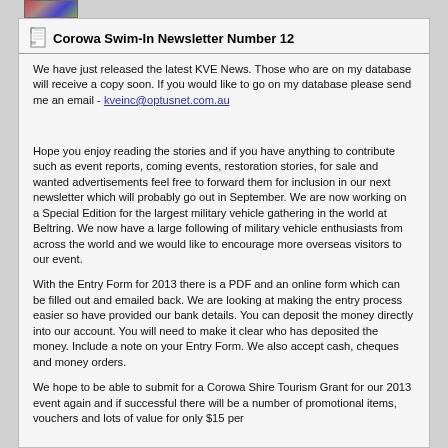[Figure (photo): Small colorful image thumbnail in top bar]
Corowa Swim-In Newsletter Number 12
We have just released the latest KVE News. Those who are on my database will receive a copy soon. If you would like to go on my database please send me an email - kveinc@optusnet.com.au
Hope you enjoy reading the stories and if you have anything to contribute such as event reports, coming events, restoration stories, for sale and wanted advertisements feel free to forward them for inclusion in our next newsletter which will probably go out in September. We are now working on a Special Edition for the largest military vehicle gathering in the world at Beltring. We now have a large following of military vehicle enthusiasts from across the world and we would like to encourage more overseas visitors to our event.
With the Entry Form for 2013 there is a PDF and an online form which can be filled out and emailed back. We are looking at making the entry process easier so have provided our bank details. You can deposit the money directly into our account. You will need to make it clear who has deposited the money. Include a note on your Entry Form. We also accept cash, cheques and money orders.
We hope to be able to submit for a Corowa Shire Tourism Grant for our 2013 event again and if successful there will be a number of promotional items, vouchers and lots of value for only $15 per